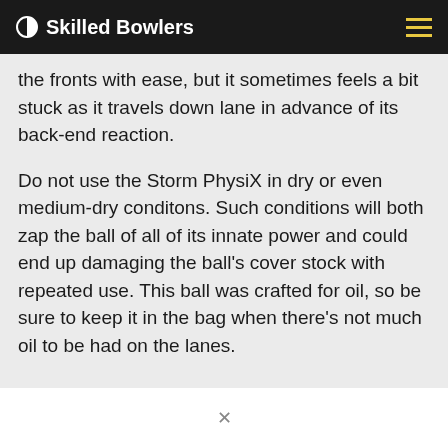Skilled Bowlers
the fronts with ease, but it sometimes feels a bit stuck as it travels down lane in advance of its back-end reaction.
Do not use the Storm PhysiX in dry or even medium-dry conditons. Such conditions will both zap the ball of all of its innate power and could end up damaging the ball's cover stock with repeated use. This ball was crafted for oil, so be sure to keep it in the bag when there’s not much oil to be had on the lanes.